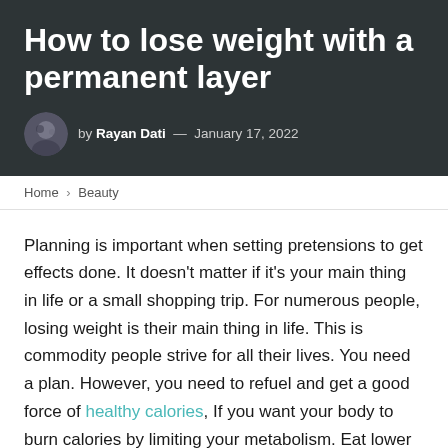How to lose weight with a permanent layer
by Rayan Dati — January 17, 2022
Home › Beauty
Planning is important when setting pretensions to get effects done. It doesn't matter if it's your main thing in life or a small shopping trip. For numerous people, losing weight is their main thing in life. This is commodity people strive for all their lives. You need a plan. However, you need to refuel and get a good force of healthy calories, If you want your body to burn calories by limiting your metabolism. Eat lower portions more frequently. Check food markers to keep track of how you eat them. Water is